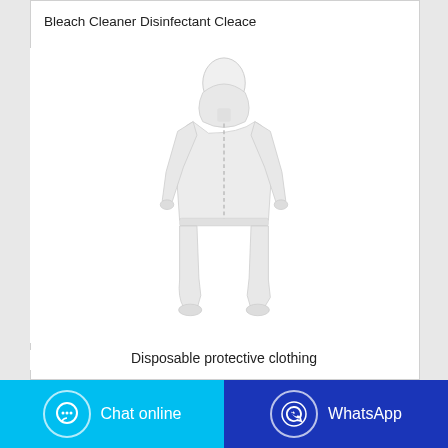Bleach Cleaner Disinfectant Cleace
[Figure (photo): A white disposable protective coverall suit with hood, shown on a mannequin standing upright. The suit covers the entire body including feet and has elastic cuffs.]
Disposable protective clothing
Chat online   WhatsApp